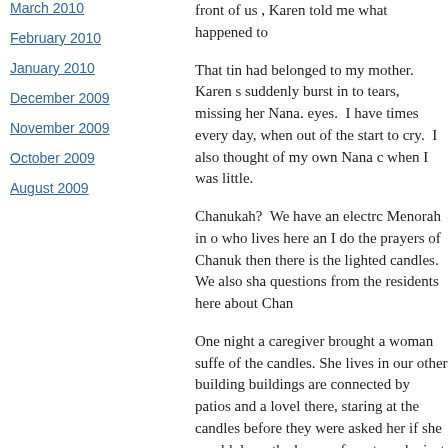March 2010
February 2010
January 2010
December 2009
November 2009
October 2009
August 2009
front of us , Karen told me what happened to
That tin had belonged to my mother.  Karen s suddenly burst in to tears, missing her Nana. eyes.  I have times every day, when out of the start to cry.  I also thought of my own Nana c when I was little.
Chanukah?  We have an electrc Menorah in o who lives here an I do the prayers of Chanuk then there is the lighted candles. We also sha questions from the residents here about Chan
One night a caregiver brought a woman suffe of the candles. She lives in our other building buildings are connected by patios and a lovel there, staring at the candles before they were asked her if she would do us the honor of say two she just stared at me, and then, this big s